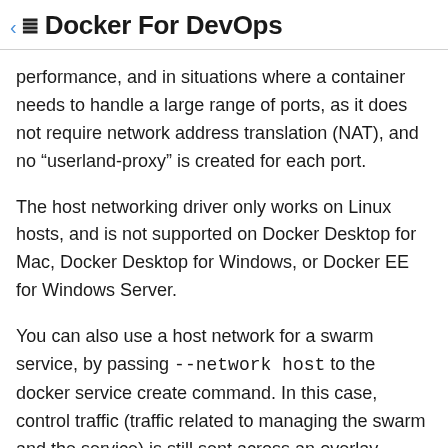Docker For DevOps
performance, and in situations where a container needs to handle a large range of ports, as it does not require network address translation (NAT), and no “userland-proxy” is created for each port.
The host networking driver only works on Linux hosts, and is not supported on Docker Desktop for Mac, Docker Desktop for Windows, or Docker EE for Windows Server.
You can also use a host network for a swarm service, by passing --network host to the docker service create command. In this case, control traffic (traffic related to managing the swarm and the service) is still sent across an overlay network, but the individual swarm service containers send data using the Docker daemon’s host